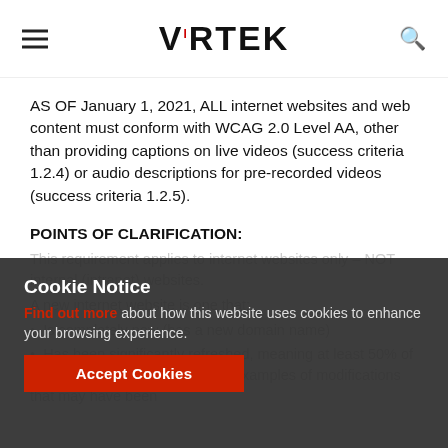VIRTEK
AS OF January 1, 2021, ALL internet websites and web content must conform with WCAG 2.0 Level AA, other than providing captions on live videos (success criteria 1.2.4) or audio descriptions for pre-recorded videos (success criteria 1.2.5).
POINTS OF CLARIFICATION:
This requirement applies to internet websites only – NOT internal (intranet) websites.
A new internet website is one that:
Is completely new (has a new domain name)
Has been significantly refreshed, meaning at least 50% of the content has been modified. Examples of modifications that may have been
Cookie Notice
Find out more about how this website uses cookies to enhance your browsing experience.
Accept Cookies